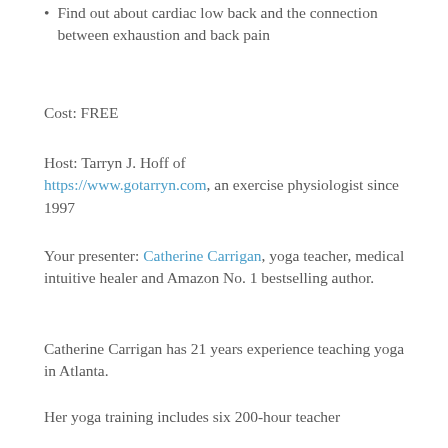Find out about cardiac low back and the connection between exhaustion and back pain
Cost: FREE
Host: Tarryn J. Hoff of https://www.gotarryn.com, an exercise physiologist since 1997
Your presenter: Catherine Carrigan, yoga teacher, medical intuitive healer and Amazon No. 1 bestselling author.
Catherine Carrigan has 21 years experience teaching yoga in Atlanta.
Her yoga training includes six 200-hour teacher training and a 500-hour master training